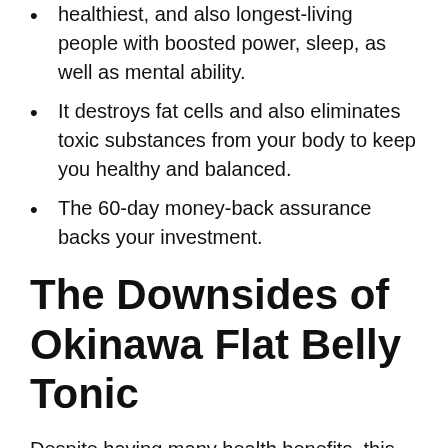healthiest, and also longest-living people with boosted power, sleep, as well as mental ability.
It destroys fat cells and also eliminates toxic substances from your body to keep you healthy and balanced.
The 60-day money-back assurance backs your investment.
The Downsides of Okinawa Flat Belly Tonic
Despite having many health benefits, this item as well includes some shortcomings. They are listed below: